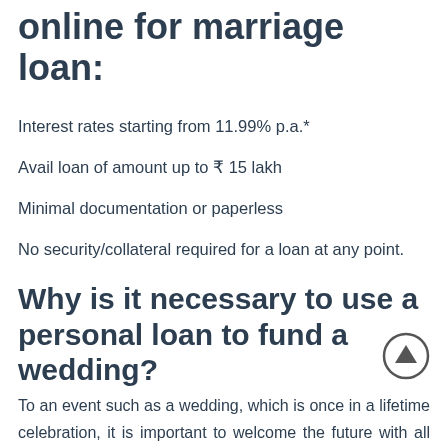online for marriage loan:
Interest rates starting from 11.99% p.a.*
Avail loan of amount up to ₹ 15 lakh
Minimal documentation or paperless
No security/collateral required for a loan at any point.
Why is it necessary to use a personal loan to fund a wedding?
To an event such as a wedding, which is once in a lifetime celebration, it is important to welcome the future with all the perfection. Shortage of finances are common in uncertain events like wedding and its